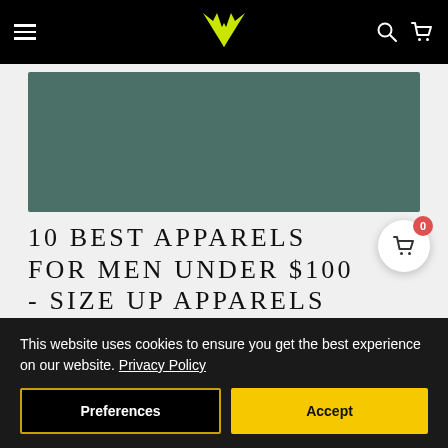[Figure (screenshot): Website navigation bar with hamburger menu, yellow winged logo on black background, search icon and cart icon]
[Figure (photo): Hero banner image with dark teal/green background, partial view of apparel content]
10 BEST APPARELS FOR MEN UNDER $100 - SIZE UP APPARELS
From oversize shirting to ballooned silhouettes and
This website uses cookies to ensure you get the best experience on our website. Privacy Policy